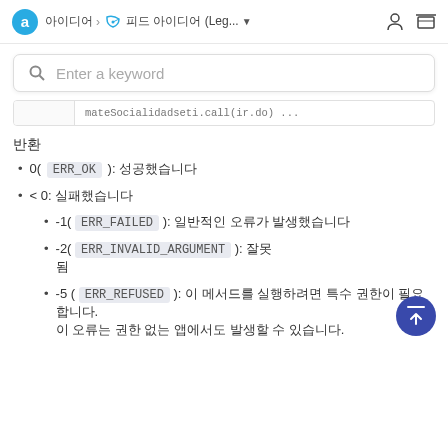아이디어 > 피드 아이디어 (Leg... ▼
Enter a keyword
mateSocialidadseti.call(ir.do) ...
반환
0( ERR_OK ): 성공했습니다
< 0: 실패했습니다
-1( ERR_FAILED ): 일반적인 오류가 발생했습니다
-2( ERR_INVALID_ARGUMENT ): 잘못 됨
-5 ( ERR_REFUSED ): 이 메서드를 실행하려면 특수 권한이 필요합니다. 이 오류는 권한 없는 앱에서도 발생할 수 있습니다.